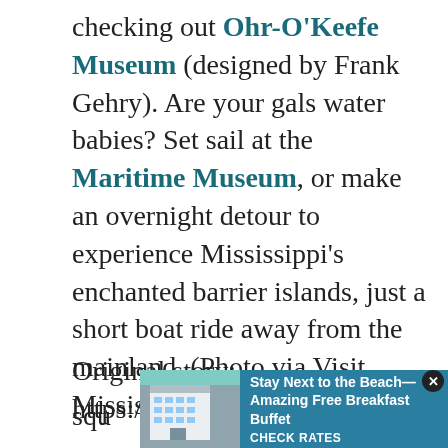checking out Ohr-O'Keefe Museum (designed by Frank Gehry). Are your gals water babies? Set sail at the Maritime Museum, or make an overnight detour to experience Mississippi's enchanted barrier islands, just a short boat ride away from the mainland. (Photo via Visit Mississippi Gulf Coast)
Original story: https://www.brit.co/mom-squ...
[Figure (other): Advertisement banner: Hotel photo on left, teal background with text 'Stay Next to the Beach—Amazing Free Breakfast Buffet' and 'CHECK RATES' CTA, with close button]